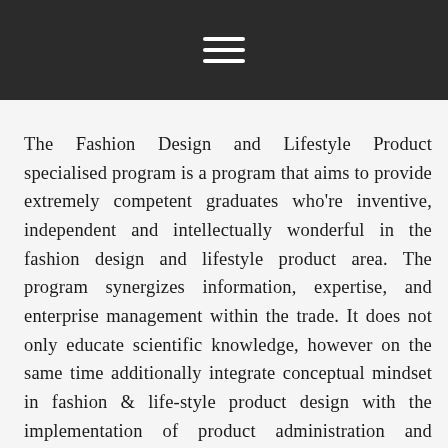The Fashion Design and Lifestyle Product specialised program is a program that aims to provide extremely competent graduates who're inventive, independent and intellectually wonderful in the fashion design and lifestyle product area. The program synergizes information, expertise, and enterprise management within the trade. It does not only educate scientific knowledge, however on the same time additionally integrate conceptual mindset in fashion & life-style product design with the implementation of product administration and software. The DFP graduate is a bachelor of design in the fashion trade who is